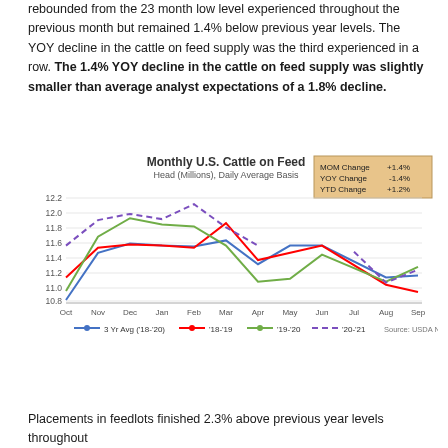rebounded from the 23 month low level experienced throughout the previous month but remained 1.4% below previous year levels. The YOY decline in the cattle on feed supply was the third experienced in a row. The 1.4% YOY decline in the cattle on feed supply was slightly smaller than average analyst expectations of a 1.8% decline.
[Figure (line-chart): Monthly U.S. Cattle on Feed]
Placements in feedlots finished 2.3% above previous year levels throughout